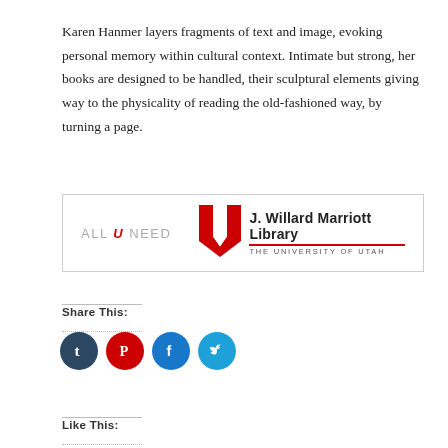Karen Hanmer layers fragments of text and image, evoking personal memory within cultural context. Intimate but strong, her books are designed to be handled, their sculptural elements giving way to the physicality of reading the old-fashioned way, by turning a page.
[Figure (logo): All U Need text logo on left; J. Willard Marriott Library, The University of Utah logo with red U symbol on right, inside a bordered box]
Share this:
[Figure (infographic): Four circular social media share buttons: Tumblr (dark navy), Pinterest (red), Facebook (blue), Twitter (light blue)]
Like this: